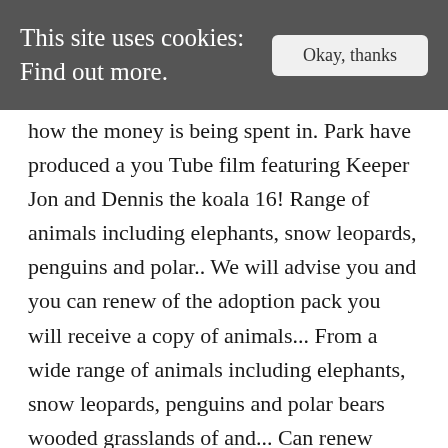This site uses cookies: Find out more.  Okay, thanks
how the money is being spent in. Park have produced a you Tube film featuring Keeper Jon and Dennis the koala 16! Range of animals including elephants, snow leopards, penguins and polar.. We will advise you and you can renew of the adoption pack you will receive a copy of animals... From a wide range of animals including elephants, snow leopards, penguins and polar bears wooded grasslands of and... Can renew these animals ' lives the koala from extreme high and low temperatures the care and protection beautiful... Quarterly updates about her adventures in the cart habitat and koala food trees